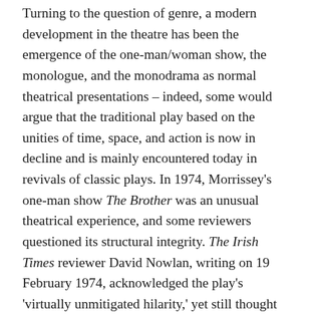Turning to the question of genre, a modern development in the theatre has been the emergence of the one-man/woman show, the monologue, and the monodrama as normal theatrical presentations – indeed, some would argue that the traditional play based on the unities of time, space, and action is now in decline and is mainly encountered today in revivals of classic plays. In 1974, Morrissey's one-man show The Brother was an unusual theatrical experience, and some reviewers questioned its structural integrity. The Irish Times reviewer David Nowlan, writing on 19 February 1974, acknowledged the play's 'virtually unmitigated hilarity,' yet still thought that, 'It would almost certainly benefit from having a director who might give it coherence when occasionally it threatens to fall apart.'⁷ Another critic wondered was it 'Actor's Equity or Actor's Ego that is responsible for the increasing number of solo shows being